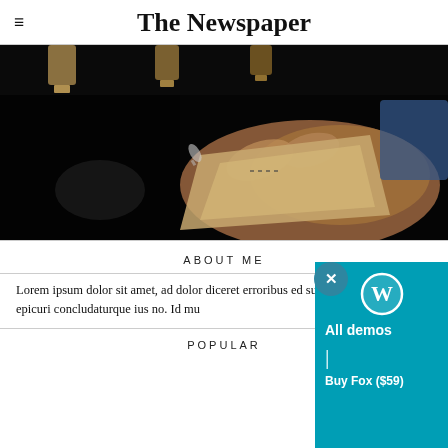The Newspaper
[Figure (photo): Close-up photo of a hand holding or touching paper in a dark setting, with hanging lamp shapes visible in the background]
ABOUT ME
Lorem ipsum dolor sit amet, ad dolor diceret erroribus ed summo sententiae, epicuri concludaturque ius no. Id mu
POPULAR